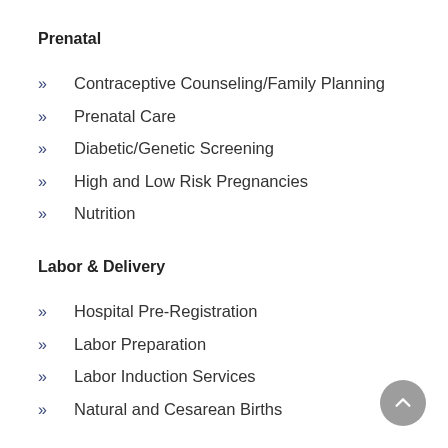Prenatal
Contraceptive Counseling/Family Planning
Prenatal Care
Diabetic/Genetic Screening
High and Low Risk Pregnancies
Nutrition
Labor & Delivery
Hospital Pre-Registration
Labor Preparation
Labor Induction Services
Natural and Cesarean Births